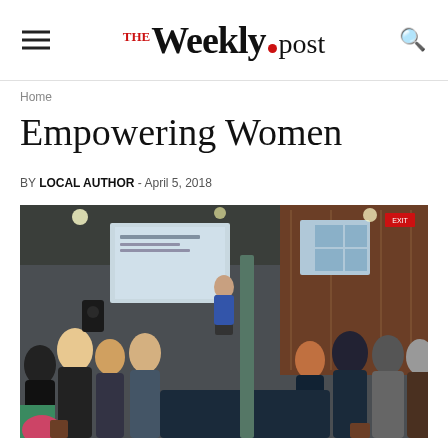THE Weekly•post
Home
Empowering Women
BY LOCAL AUTHOR - April 5, 2018
[Figure (photo): A woman presenting at a podium in front of a projection screen to a seated audience of mostly women in a restaurant/event venue setting.]